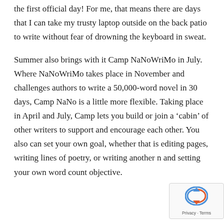the first official day! For me, that means there are days that I can take my trusty laptop outside on the back patio to write without fear of drowning the keyboard in sweat.
Summer also brings with it Camp NaNoWriMo in July. Where NaNoWriMo takes place in November and challenges authors to write a 50,000-word novel in 30 days, Camp NaNo is a little more flexible. Taking place in April and July, Camp lets you build or join a ‘cabin’ of other writers to support and encourage each other. You also can set your own goal, whether that is editing pages, writing lines of poetry, or writing another n and setting your own word count objective.